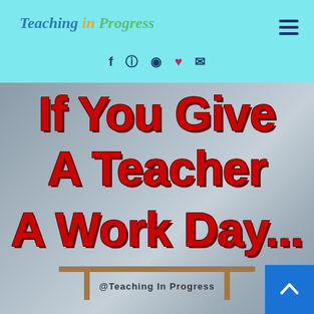Teaching in Progress
[Figure (screenshot): Blog header with 'Teaching in Progress' logo in blue/yellow/green italic script on a teal/cyan background, with hamburger menu icon and social media icons (Facebook, Instagram, Pinterest, heart, email)]
[Figure (photo): Image overlay on classroom photo background showing large bold red text: 'If You Give A Teacher A Work Day...' with @TeachingInProgress watermark and a blue scroll-to-top button in bottom right corner]